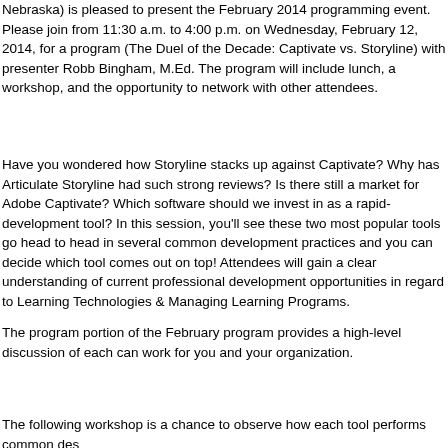Nebraska) is pleased to present the February 2014 programming event.  Please join from 11:30 a.m. to 4:00 p.m. on Wednesday, February 12, 2014, for a program (The Duel of the Decade: Captivate vs. Storyline) with presenter Robb Bingham, M.Ed. The program will include lunch, a workshop, and the opportunity to network with other attendees.
Have you wondered how Storyline stacks up against Captivate? Why has Articulate Storyline had such strong reviews? Is there still a market for Adobe Captivate? Which software should we invest in as a rapid-development tool? In this session, you'll see these two most popular tools go head to head in several common development practices and you can decide which tool comes out on top! Attendees will gain a clear understanding of current professional development opportunities in regard to Learning Technologies & Managing Learning Programs.
The program portion of the February program provides a high-level discussion of each can work for you and your organization.
The following workshop is a chance to observe how each tool performs common des